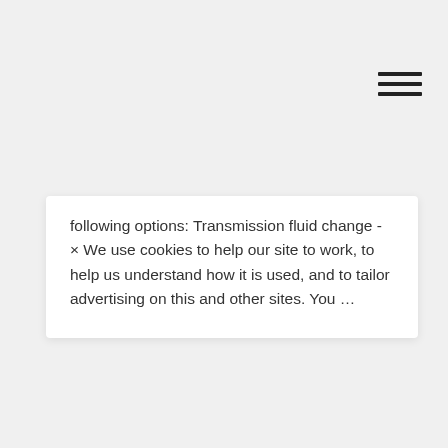[Figure (other): Hamburger menu icon (three horizontal lines) in top right corner]
following options: Transmission fluid change - × We use cookies to help our site to work, to help us understand how it is used, and to tailor advertising on this and other sites. You …
OBERNE
2020-05-12
Jlab Headphones How To Connect